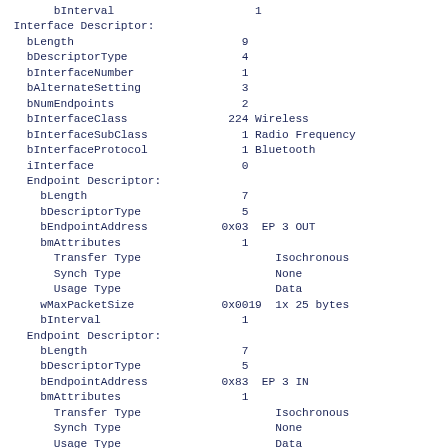bInterval                          1
  Interface Descriptor:
    bLength                          9
    bDescriptorType                  4
    bInterfaceNumber                 1
    bAlternateSetting                3
    bNumEndpoints                    2
    bInterfaceClass                224 Wireless
    bInterfaceSubClass               1 Radio Frequency
    bInterfaceProtocol               1 Bluetooth
    iInterface                       0
    Endpoint Descriptor:
      bLength                        7
      bDescriptorType                5
      bEndpointAddress            0x03  EP 3 OUT
      bmAttributes                   1
        Transfer Type                   Isochronous
        Synch Type                      None
        Usage Type                      Data
      wMaxPacketSize              0x0019  1x 25 bytes
      bInterval                      1
    Endpoint Descriptor:
      bLength                        7
      bDescriptorType                5
      bEndpointAddress            0x83  EP 3 IN
      bmAttributes                   1
        Transfer Type                   Isochronous
        Synch Type                      None
        Usage Type                      Data
      wMaxPacketSize              0x0019  1x 25 bytes